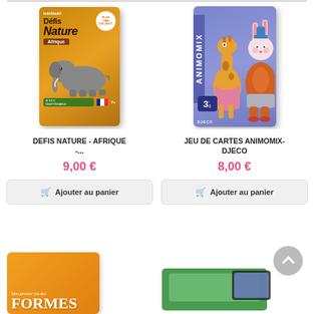[Figure (photo): Product card for Défis Nature - Afrique card game, orange box with elephant]
[Figure (photo): Product card for Jeu de Cartes Animomix by Djeco, purple box with cartoon animal characters]
DEFIS NATURE - AFRIQUE -...
9,00 €
Ajouter au panier
JEU DE CARTES ANIMOMIX- DJECO
8,00 €
Ajouter au panier
[Figure (photo): Bottom left partial product: Mon premier jeu des Formes orange box]
[Figure (photo): Bottom right partial product: partially visible green/blue game box]